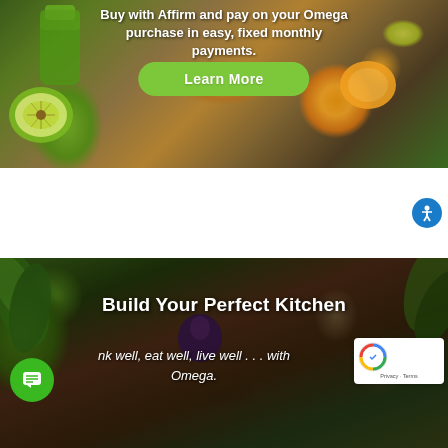[Figure (photo): Banner image showing fruits and vegetables including kiwi, oranges, and green juice jars on a wooden surface with text overlay about Affirm payment and a Learn More button]
Buy with Affirm and pay on your Omega purchase in easy, fixed monthly payments.
Learn More
[Figure (photo): Dark background image of vegetables and fruits including kale, plums on a wooden surface with text 'Build Your Perfect Kitchen' and 'drink well, eat well, live well ... with Omega.']
Build Your Perfect Kitchen
nk well, eat well, live well . . . with Omega.